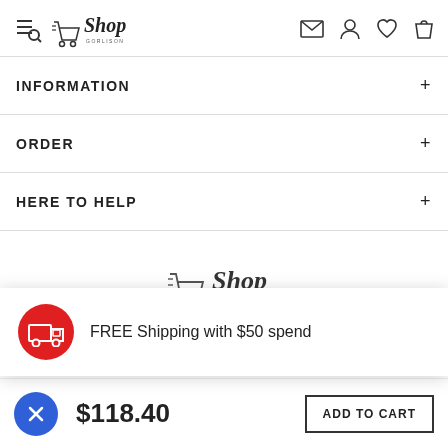Shop Gorlison — navigation header with hamburger/search, logo, mail, user, heart, bag icons
INFORMATION +
ORDER +
HERE TO HELP +
[Figure (logo): Shop Gorlison logo centered on page]
FREE Shipping with $50 spend
$118.40
ADD TO CART